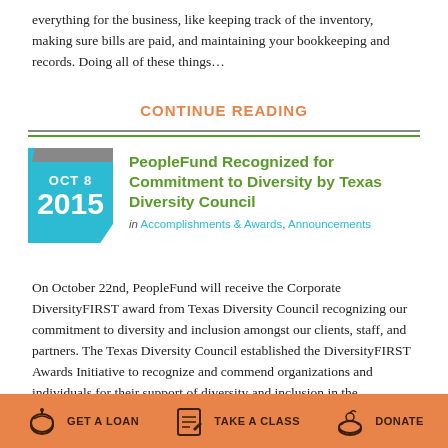everything for the business, like keeping track of the inventory, making sure bills are paid, and maintaining your bookkeeping and records. Doing all of these things…
CONTINUE READING
PeopleFund Recognized for Commitment to Diversity by Texas Diversity Council
in Accomplishments & Awards, Announcements
On October 22nd, PeopleFund will receive the Corporate DiversityFIRST award from Texas Diversity Council recognizing our commitment to diversity and inclusion amongst our clients, staff, and partners. The Texas Diversity Council established the DiversityFIRST Awards Initiative to recognize and commend organizations and individuals for their support of diversity and inclusion in the…
GET A LOAN   TAKE A CLASS   DONATE